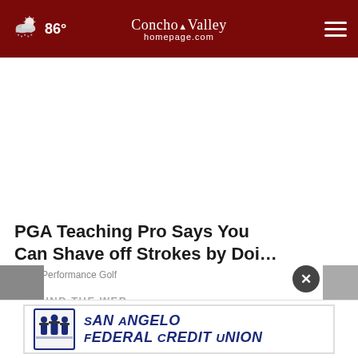86° Concho Valley homepage.com
[Figure (screenshot): White ad space placeholder area]
PGA Teaching Pro Says You Can Shave off Strokes by Doi...
Ad by Performance Golf
AROUND THE WEB
[Figure (logo): San Angelo Federal Credit Union banner advertisement with logo of uniformed figures and blue italic text]
[Figure (logo): Taboola logo partially visible in bottom right]